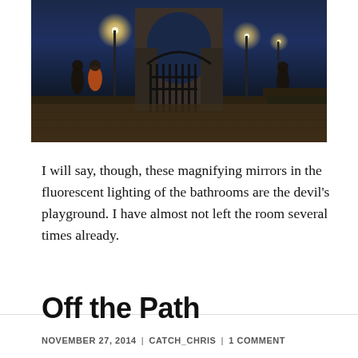[Figure (photo): Nighttime photo of an ornate iron gate or arch entrance to a stone building, with street lamps glowing blue-orange, pedestrians visible, cobblestone street in foreground]
I will say, though, these magnifying mirrors in the fluorescent lighting of the bathrooms are the devil's playground. I have almost not left the room several times already.
Off the Path
NOVEMBER 27, 2014 | CATCH_CHRIS | 1 COMMENT